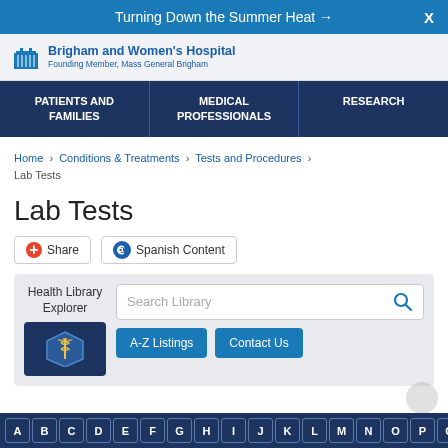Turning Down the Summer Heat →
[Figure (logo): Brigham and Women's Hospital logo with building icon, text 'Brigham and Women's Hospital' and 'Founding Member, Mass General Brigham']
PATIENTS AND FAMILIES | MEDICAL PROFESSIONALS | RESEARCH
Home > Conditions & Treatments > Tests and Procedures > Lab Tests
Lab Tests
Share  Spanish Content
Health Library Explorer  Search Library  A-Z Listings  Contact Us
A B C D E F G H I J K L M N O P Q R